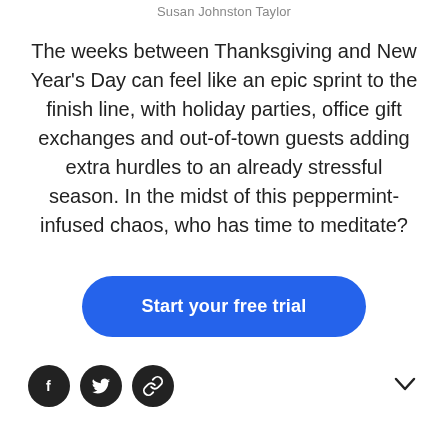Susan Johnston Taylor
The weeks between Thanksgiving and New Year's Day can feel like an epic sprint to the finish line, with holiday parties, office gift exchanges and out-of-town guests adding extra hurdles to an already stressful season. In the midst of this peppermint-infused chaos, who has time to meditate?
[Figure (other): Blue rounded rectangle call-to-action button with white text reading 'Start your free trial']
[Figure (other): Social sharing icons: Facebook (f), Twitter (bird), Link icon — all in dark circular buttons; chevron/arrow on the right]